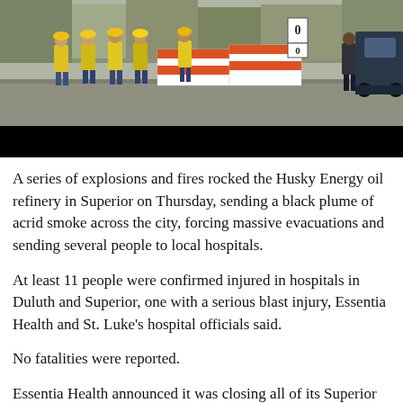[Figure (photo): Workers in yellow safety vests and hard hats standing near orange and white road construction barriers on a road. A dark pickup truck is visible on the right side. Trees are visible in the background. A black redacted bar appears below the photo.]
A series of explosions and fires rocked the Husky Energy oil refinery in Superior on Thursday, sending a black plume of acrid smoke across the city, forcing massive evacuations and sending several people to local hospitals.
At least 11 people were confirmed injured in hospitals in Duluth and Superior, one with a serious blast injury, Essentia Health and St. Luke's hospital officials said.
No fatalities were reported.
Essentia Health announced it was closing all of its Superior locations including evacuating everyone from its Superior